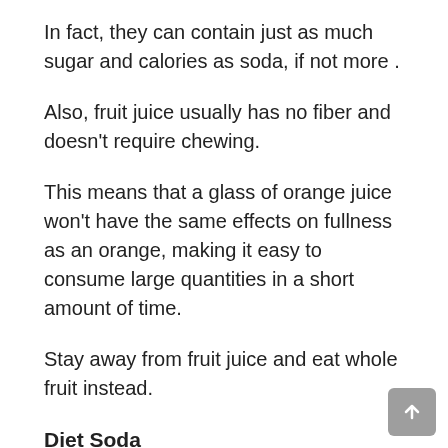In fact, they can contain just as much sugar and calories as soda, if not more .
Also, fruit juice usually has no fiber and doesn't require chewing.
This means that a glass of orange juice won't have the same effects on fullness as an orange, making it easy to consume large quantities in a short amount of time.
Stay away from fruit juice and eat whole fruit instead.
Diet Soda